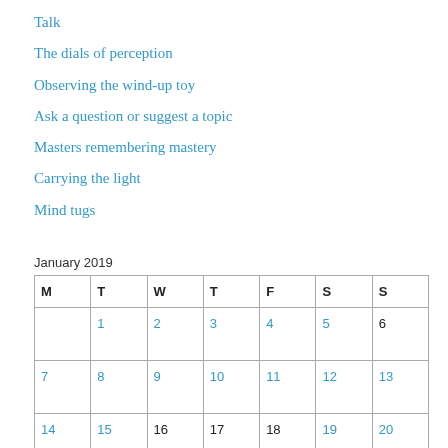Talk
The dials of perception
Observing the wind-up toy
Ask a question or suggest a topic
Masters remembering mastery
Carrying the light
Mind tugs
January 2019
| M | T | W | T | F | S | S |
| --- | --- | --- | --- | --- | --- | --- |
|  | 1 | 2 | 3 | 4 | 5 | 6 |
| 7 | 8 | 9 | 10 | 11 | 12 | 13 |
| 14 | 15 | 16 | 17 | 18 | 19 | 20 |